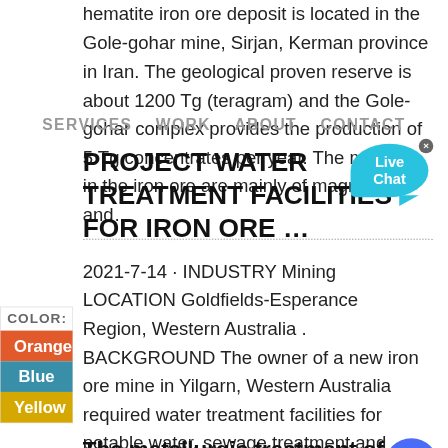hematite iron ore deposit is located in the Gole-gohar mine, Sirjan, Kerman province in Iran. The geological proven reserve is about 1200 Tg (teragram) and the Gole-gohar complex provides the production of 5 Tg concentrates per year. The minerals in the iron ore are mainly of magnetite and…
SERVICES  WORK  ABOUT  CONTACT
PROJECT WATER TREATMENT FACILITIES FOR IRON ORE …
2021-7-14 · INDUSTRY Mining LOCATION Goldfields-Esperance Region, Western Australia . BACKGROUND The owner of a new iron ore mine in Yilgarn, Western Australia required water treatment facilities for potable water, sewage treatment and heavy vehicle (HV) washbay wastewater treatment. MAK Water worked closely with…
The metallurgic treatment of an ore for
[Figure (infographic): Color sidebar with COLOR label and three swatches: Orange, Blue, Yellow]
[Figure (illustration): Live Chat speech bubble widget in cyan]
[Figure (illustration): Blue circle chat icon button at bottom right]